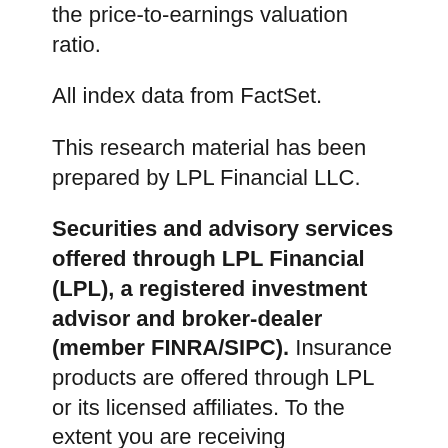the price-to-earnings valuation ratio.
All index data from FactSet.
This research material has been prepared by LPL Financial LLC.
Securities and advisory services offered through LPL Financial (LPL), a registered investment advisor and broker-dealer (member FINRA/SIPC). Insurance products are offered through LPL or its licensed affiliates. To the extent you are receiving investment advice from a